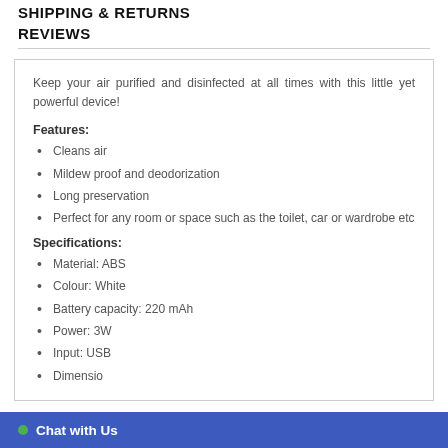SHIPPING & RETURNS
REVIEWS
Keep your air purified and disinfected at all times with this little yet powerful device!
Features:
Cleans air
Mildew proof and deodorization
Long preservation
Perfect for any room or space such as the toilet, car or wardrobe etc
Specifications:
Material: ABS
Colour: White
Battery capacity: 220 mAh
Power: 3W
Input: USB
Dimensio...
Chat with Us